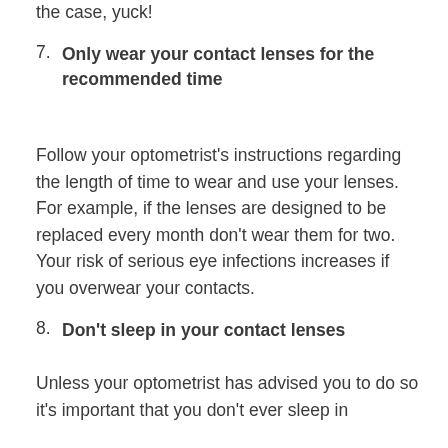the case, yuck!
7. Only wear your contact lenses for the recommended time
Follow your optometrist's instructions regarding the length of time to wear and use your lenses. For example, if the lenses are designed to be replaced every month don't wear them for two. Your risk of serious eye infections increases if you overwear your contacts.
8. Don't sleep in your contact lenses
Unless your optometrist has advised you to do so it's important that you don't ever sleep in